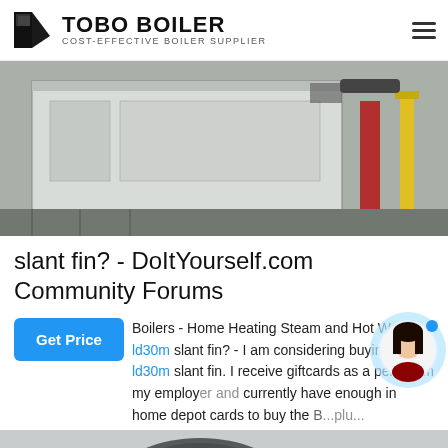TOBO BOILER — COST-EFFECTIVE BOILER SUPPLIER
[Figure (photo): Industrial boiler equipment in a facility — large rectangular white/grey boiler unit with red support pillar and yellow pipe on right side]
slant fin? - DoItYourself.com Community Forums
Boilers - Home Heating Steam and Hot Water ld30m slant fin. I receive giftcards as a perq from my employer and currently have enough in home depot cards to buy the B...plu...
[Figure (photo): Bottom portion of industrial boiler/heating equipment in a room, with WhatsApp contact button overlay in bottom-left]